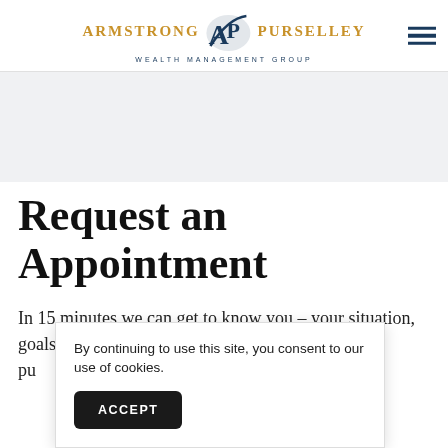ARMSTRONG AP PURSELLEY WEALTH MANAGEMENT GROUP
[Figure (logo): Armstrong Purselley Wealth Management Group logo with AP monogram in navy blue, company name in gold, and tagline in navy blue]
Request an Appointment
In 15 minutes we can get to know you – your situation, goals and needs – then connect you with pu...
By continuing to use this site, you consent to our use of cookies.